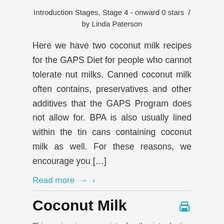Introduction Stages, Stage 4 - onward 0 stars  /  by Linda Paterson
Here we have two coconut milk recipes for the GAPS Diet for people who cannot tolerate nut milks. Canned coconut milk often contains, preservatives and other additives that the GAPS Program does not allow for. BPA is also usually lined within the tin cans containing coconut milk as well. For these reasons, we encourage you […]
Read more →
Coconut Milk
This recipe is appropriate for the introduction diet…